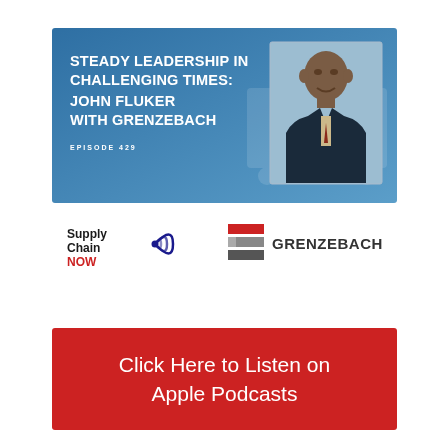[Figure (infographic): Podcast episode banner with blue background. Title reads 'STEADY LEADERSHIP IN CHALLENGING TIMES: JOHN FLUKER WITH GRENZEBACH', subtitle 'EPISODE 429'. Photo of John Fluker (man in suit) on the right side.]
[Figure (logo): Supply Chain NOW logo with radio wave icon]
[Figure (logo): GRENZEBACH logo with red/grey horizontal bar icon]
Click Here to Listen on Apple Podcasts